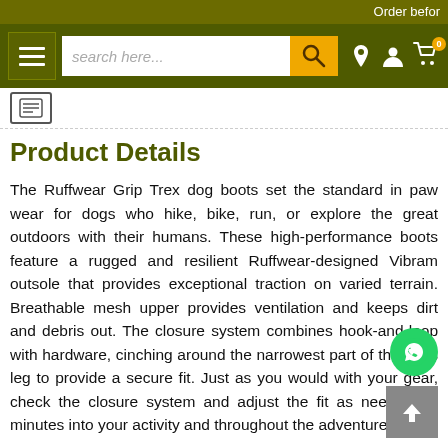Order befor
[Figure (screenshot): Navigation bar with hamburger menu, search box, and icons for location, account, and cart (0 items)]
[Figure (other): Breadcrumb icon (document/notepad icon)]
Product Details
The Ruffwear Grip Trex dog boots set the standard in paw wear for dogs who hike, bike, run, or explore the great outdoors with their humans. These high-performance boots feature a rugged and resilient Ruffwear-designed Vibram outsole that provides exceptional traction on varied terrain. Breathable mesh upper provides ventilation and keeps dirt and debris out. The closure system combines hook-and-loop with hardware, cinching around the narrowest part of the dogs leg to provide a secure fit. Just as you would with your gear, check the closure system and adjust the fit as needed 15 minutes into your activity and throughout the adventure.